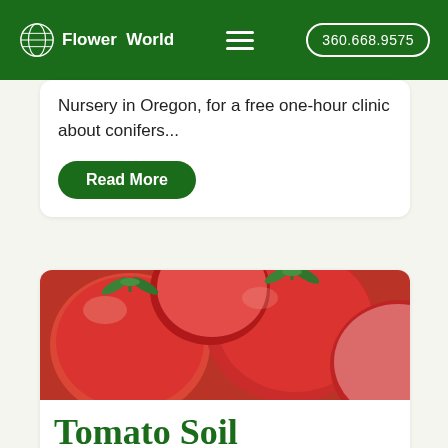Flower World | 360.668.9575
Nursery in Oregon, for a free one-hour clinic about conifers...
Read More
[Figure (photo): Close-up photo of multiple red ripe tomatoes with green stems]
Tomato Soil Experiment
News & Events  Thursday, February 24, 2022